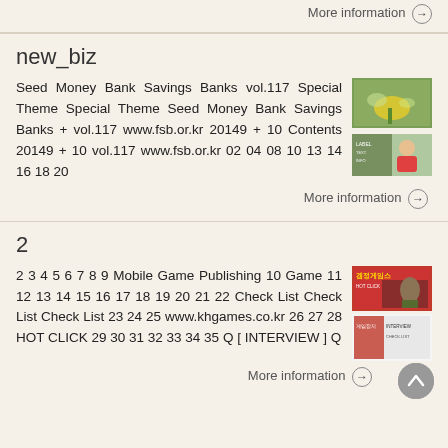More information →
new_biz
Seed Money Bank Savings Banks vol.117 Special Theme Special Theme Seed Money Bank Savings Banks + vol.117 www.fsb.or.kr 20149 + 10 Contents 20149 + 10 vol.117 www.fsb.or.kr 02 04 08 10 13 14 16 18 20
[Figure (photo): Two stacked thumbnail images related to new_biz content]
More information →
2
2 3 4 5 6 7 8 9 Mobile Game Publishing 10 Game 11 12 13 14 15 16 17 18 19 20 21 22 Check List Check List Check List 23 24 25 www.khgames.co.kr 26 27 28 HOT CLICK 29 30 31 32 33 34 35 Q [ INTERVIEW ] Q
[Figure (photo): Game magazine thumbnail images]
More information →